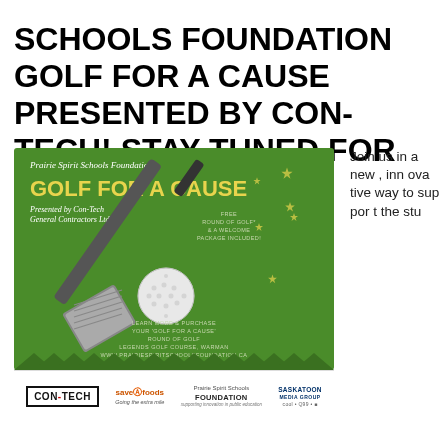SCHOOLS FOUNDATION GOLF FOR A CAUSE PRESENTED BY CON-TECH! STAY TUNED FOR OUR 2022 PLANS!
[Figure (illustration): Prairie Spirit Schools Foundation Golf for a Cause promo image on green background with golf club, ball, stars, and sponsor logos including Con-Tech, Save-On Foods, Prairie Spirit Schools Foundation, and Saskatoon Media Group]
Join us in a new , innovative way to support the stu